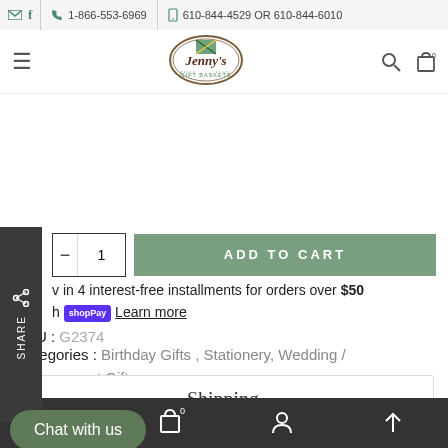✉ f  📞 1-866-553-6969  📱 610-844-4529 OR 610-844-6010
[Figure (logo): Jenny's Gift Baskets circular logo with brown script text and green decorative elements]
ADD TO CART
Pay in 4 interest-free installments for orders over $50 with Shop Pay Learn more
SKU : G2374
Categories : Birthday Gifts, Stationery, Wedding / Engagement Gifts
Shipping
Chat with us
☰  🛍 0  👤  ↑